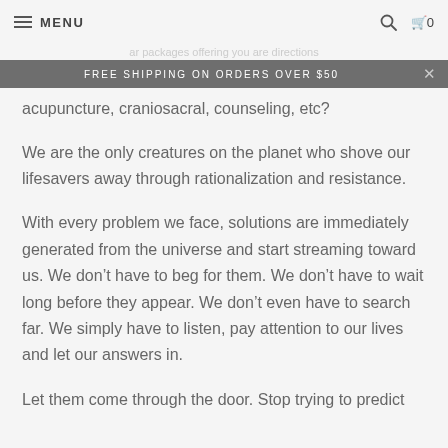MENU
FREE SHIPPING ON ORDERS OVER $50
acupuncture, craniosacral, counseling, etc?
We are the only creatures on the planet who shove our lifesavers away through rationalization and resistance.
With every problem we face, solutions are immediately generated from the universe and start streaming toward us. We don't have to beg for them. We don't have to wait long before they appear. We don't even have to search far. We simply have to listen, pay attention to our lives and let our answers in.
Let them come through the door. Stop trying to predict